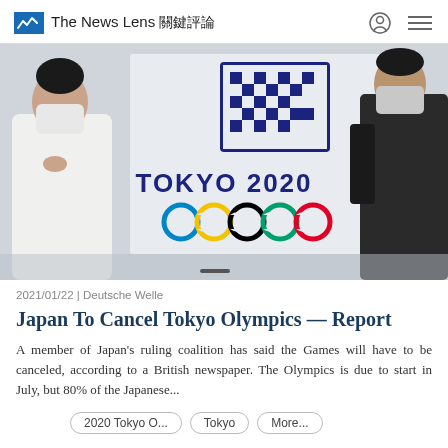The News Lens 關鍵評論
[Figure (photo): Two people wearing face masks standing in front of a Tokyo 2020 Olympic Games logo display. A woman in white on the left and a man in dark clothing on the right.]
2021/01/22 | Deutsche Welle
Japan To Cancel Tokyo Olympics — Report
A member of Japan's ruling coalition has said the Games will have to be canceled, according to a British newspaper. The Olympics is due to start in July, but 80% of the Japanese...
2020 Tokyo O...
Tokyo
More...